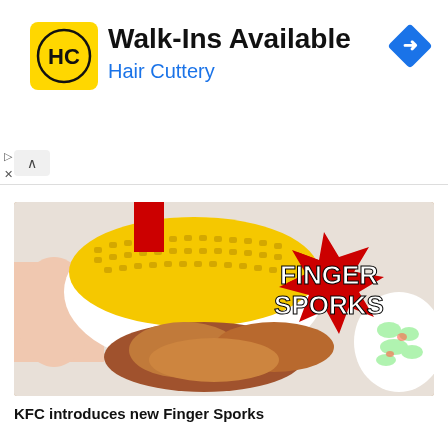[Figure (other): Hair Cuttery advertisement banner with yellow logo showing HC initials, headline Walk-Ins Available, subtext Hair Cuttery, and blue navigation diamond icon on the right]
[Figure (photo): KFC food photo showing fried chicken pieces, a white bowl of corn, coleslaw on the right, with red star graphic overlay reading FINGER SPORKS in white bold text]
KFC introduces new Finger Sporks